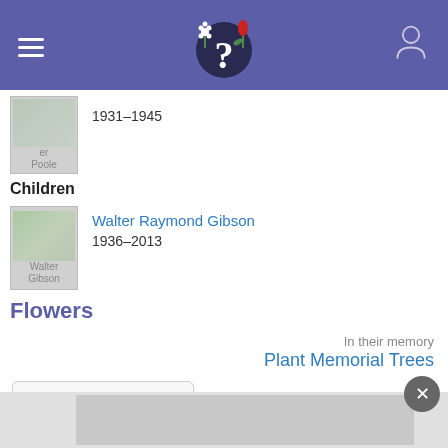Header navigation bar with hamburger menu, logo (question mark with flowers), and user icon
Walter Poole
1931–1945
Children
Walter Raymond Gibson
1936–2013
Flowers
In their memory
Plant Memorial Trees
Leave a Flower